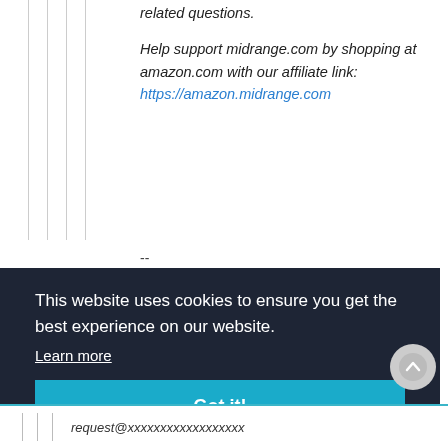related questions.
Help support midrange.com by shopping at amazon.com with our affiliate link: https://amazon.midrange.com
--
This website uses cookies to ensure you get the best experience on our website. Learn more Got it!
request@xxxxxxxxxxxxxxxxxx